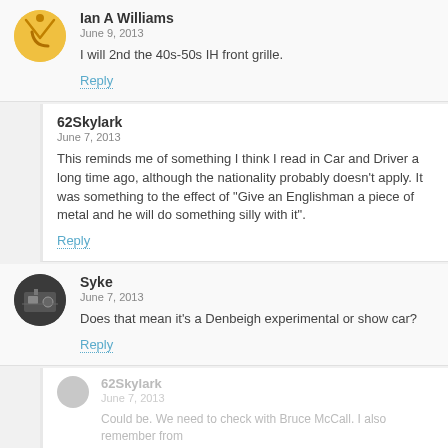[Figure (photo): Round avatar of Ian A Williams showing a yellow smiley-style face with an arrow]
Ian A Williams
June 9, 2013
I will 2nd the 40s-50s IH front grille.
Reply
62Skylark
June 7, 2013
This reminds me of something I think I read in Car and Driver a long time ago, although the nationality probably doesn't apply. It was something to the effect of "Give an Englishman a piece of metal and he will do something silly with it".
Reply
[Figure (photo): Round avatar of Syke showing a dark photo of mechanical parts]
Syke
June 7, 2013
Does that mean it's a Denbeigh experimental or show car?
Reply
62Skylark
June 7, 2013
Could be. We need to check with Bruce McCall. I also remember from